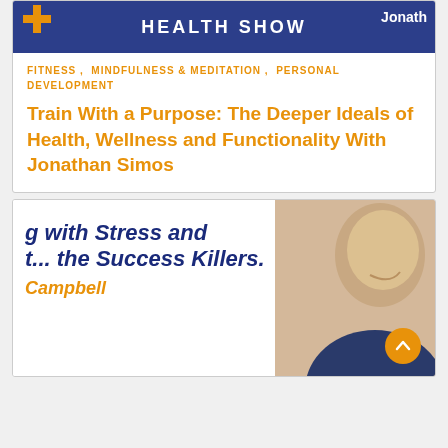[Figure (screenshot): Health show banner with orange plus logo, dark blue background, text 'HEALTH SHOW' and name 'Jonatha']
FITNESS , MINDFULNESS & MEDITATION , PERSONAL DEVELOPMENT
Train With a Purpose: The Deeper Ideals of Health, Wellness and Functionality With Jonathan Simos
[Figure (screenshot): Banner with text 'g with Stress and t... the Success Killers.' and 'Campbell' in orange, with a photo of a bald man smiling on the right side. Orange scroll-to-top button in corner.]